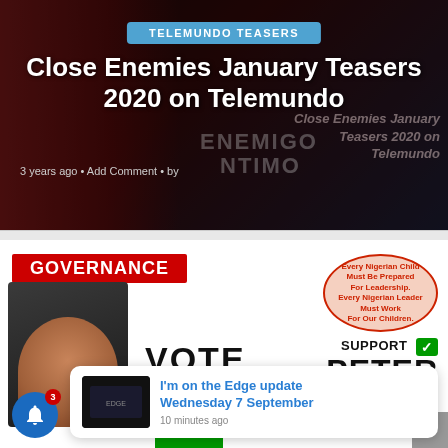TELEMUNDO TEASERS
Close Enemies January Teasers 2020 on Telemundo
3 years ago • Add Comment • by Close Enemies January Teasers 2020 on Telemundo
[Figure (screenshot): Governance advertisement featuring Peter Obi with VOTE and Support Peter Obi text, Labour Party logo, Nigeria map graphic]
I'm on the Edge update Wednesday 7 September
10 minutes ago